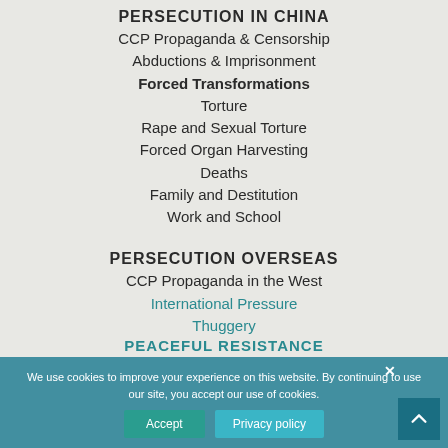PERSECUTION IN CHINA
CCP Propaganda & Censorship
Abductions & Imprisonment
Forced Transformations
Torture
Rape and Sexual Torture
Forced Organ Harvesting
Deaths
Family and Destitution
Work and School
PERSECUTION OVERSEAS
CCP Propaganda in the West
International Pressure
Thuggery
PEACEFUL RESISTANCE
We use cookies to improve your experience on this website. By continuing to use our site, you accept our use of cookies.